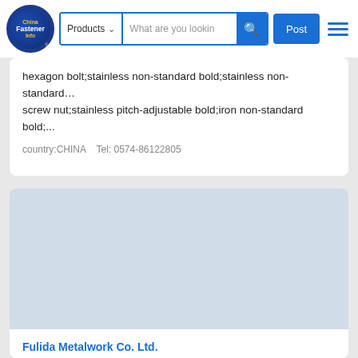China Fastener Info — Products | What are you looking | Post
hexagon bolt;stainless non-standard bold;stainless non-standard… screw nut;stainless pitch-adjustable bold;iron non-standard bold;...
country:CHINA   Tel: 0574-86122805
Fulida Metalwork Co. Ltd.
Professional in developing and manufacturing of fasteners in stainless steel, alloy steel, and carbon steel, including high strengt… bolts in 12.9 grade, hex bolts, flange hex bolts, eyelet bolts, B7M...